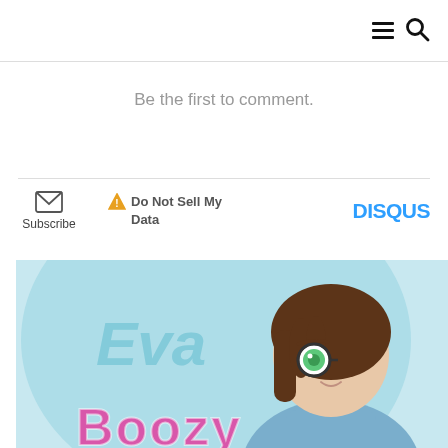Menu and Search icons
Be the first to comment.
[Figure (illustration): Disqus comment section footer bar with envelope/subscribe icon, warning triangle 'Do Not Sell My Data' link, and DISQUS logo]
[Figure (illustration): Anime-style illustration of a girl character with brown hair, round glasses, green eyes, wearing a light blue hoodie, with pink stylized text 'Boozy' at bottom and 'Eva' speech bubble text on light blue background]